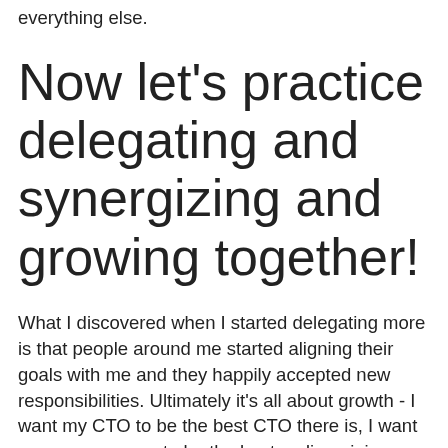everything else.
Now let’s practice delegating and synergizing and growing together!
What I discovered when I started delegating more is that people around me started aligning their goals with me and they happily accepted new responsibilities. Ultimately it’s all about growth - I want my CTO to be the best CTO there is, I want my programmers to be the best coding ninjas ever,